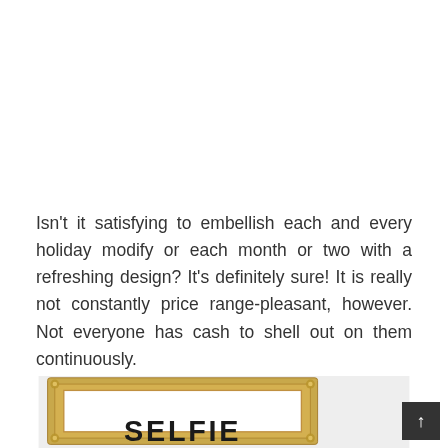Isn't it satisfying to embellish each and every holiday modify or each month or two with a refreshing design? It's definitely sure! It is really not constantly price range-pleasant, however. Not everyone has cash to shell out on them continuously.
[Figure (photo): A decorative gold ornate picture frame on a light gray background, with bold black text inside reading 'SELFIE' (partially visible at the bottom).]